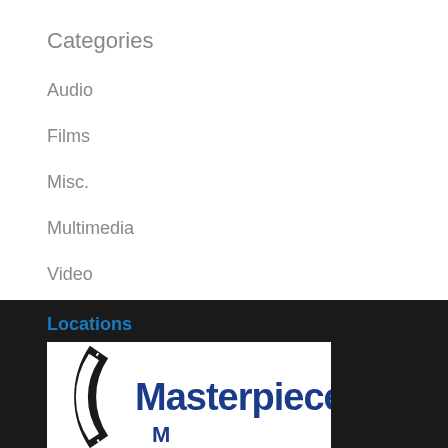Categories
Audio
Films
Misc.
Multimedia
Video
Locations
[Figure (logo): Masterpiece logo with film reel arc and text 'Masterpiece M']